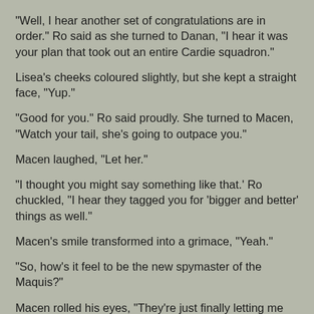"Well, I hear another set of congratulations are in order." Ro said as she turned to Danan, "I hear it was your plan that took out an entire Cardie squadron."
Lisea’s cheeks coloured slightly, but she kept a straight face, "Yup."
"Good for you." Ro said proudly. She turned to Macen, "Watch your tail, she’s going to outpace you."
Macen laughed, "Let her."
"I thought you might say something like that.’ Ro chuckled, "I hear they tagged you for ‘bigger and better’ things as well."
Macen’s smile transformed into a grimace, "Yeah."
"So, how’s it feel to be the new spymaster of the Maquis?"
Macen rolled his eyes, "They’re just finally letting me pursue my speciality. I’m not running the Intelligence division."